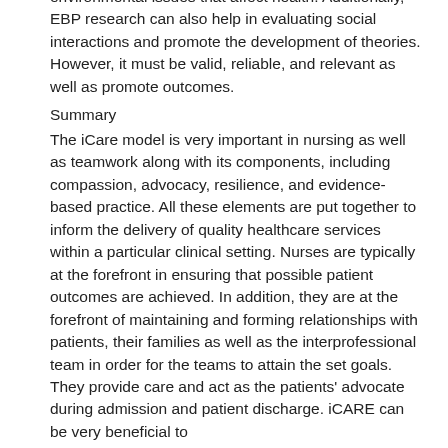environmental issues that affect health. Additionally, EBP research can also help in evaluating social interactions and promote the development of theories. However, it must be valid, reliable, and relevant as well as promote outcomes.
Summary
The iCare model is very important in nursing as well as teamwork along with its components, including compassion, advocacy, resilience, and evidence-based practice. All these elements are put together to inform the delivery of quality healthcare services within a particular clinical setting. Nurses are typically at the forefront in ensuring that possible patient outcomes are achieved. In addition, they are at the forefront of maintaining and forming relationships with patients, their families as well as the interprofessional team in order for the teams to attain the set goals. They provide care and act as the patients' advocate during admission and patient discharge. iCARE can be very beneficial to